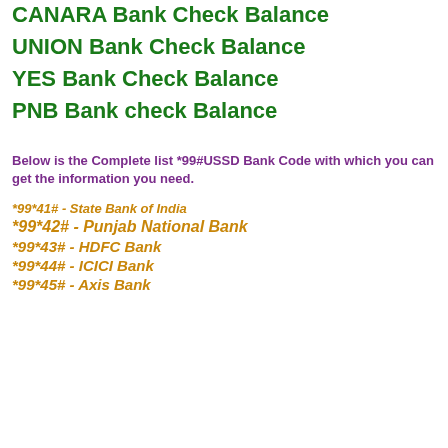CANARA Bank Check Balance
UNION Bank Check Balance
YES Bank Check Balance
PNB Bank check Balance
Below is the Complete list *99#USSD Bank Code with which you can get the information you need.
*99*41# - State Bank of India
*99*42# - Punjab National Bank
*99*43# - HDFC Bank
*99*44# - ICICI Bank
*99*45# - Axis Bank